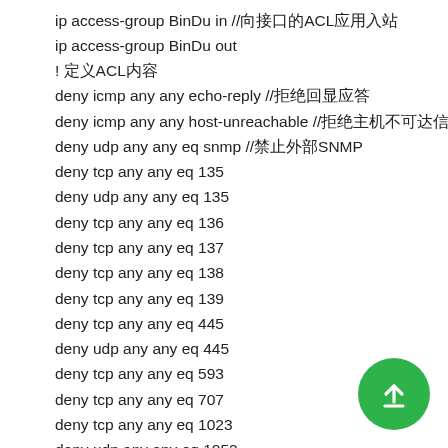ip access-group BinDu in //向接口的ACL应用入站
ip access-group BinDu out
! 定义ACL内容
deny icmp any any echo-reply //拒绝回显应答
deny icmp any any host-unreachable //拒绝主机不可达信息
deny udp any any eq snmp //禁止外部SNMP
deny tcp any any eq 135
deny udp any any eq 135
deny tcp any any eq 136
deny tcp any any eq 137
deny tcp any any eq 138
deny tcp any any eq 139
deny tcp any any eq 445
deny udp any any eq 445
deny tcp any any eq 593
deny tcp any any eq 707
deny tcp any any eq 1023
deny udp any any eq 1052
deny tcp any any eq 1068